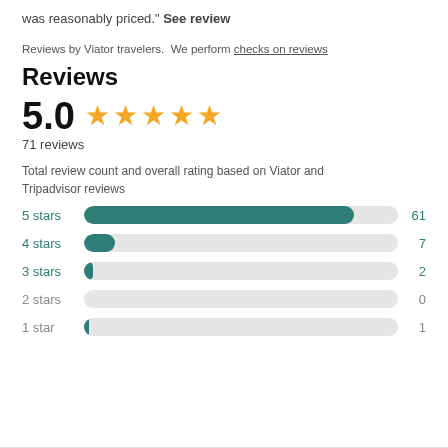was reasonably priced." See review
Reviews by Viator travelers.  We perform checks on reviews
Reviews
5.0  ★★★★★
71 reviews
Total review count and overall rating based on Viator and Tripadvisor reviews
[Figure (bar-chart): Star rating distribution]